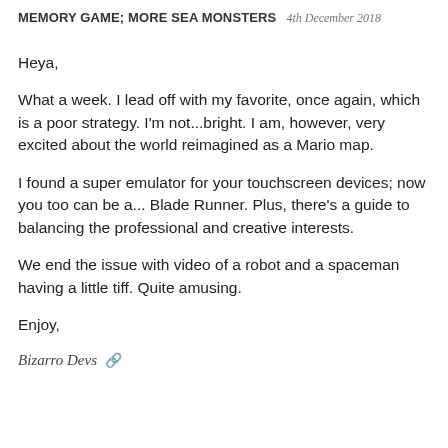MEMORY GAME; MORE SEA MONSTERS  4th December 2018
Heya,
What a week. I lead off with my favorite, once again, which is a poor strategy. I'm not...bright. I am, however, very excited about the world reimagined as a Mario map.
I found a super emulator for your touchscreen devices; now you too can be a... Blade Runner. Plus, there's a guide to balancing the professional and creative interests.
We end the issue with video of a robot and a spaceman having a little tiff. Quite amusing.
Enjoy,
Bizarro Devs 🔗